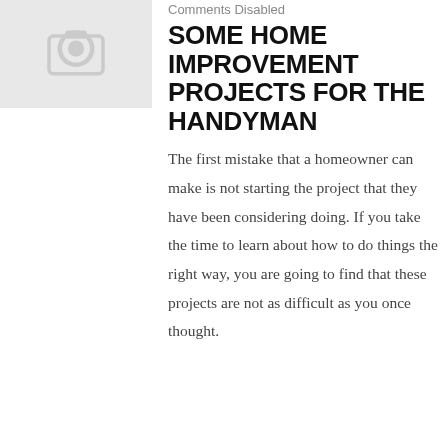[Figure (illustration): Placeholder thumbnail image with a grey background and a generic camera/image icon in the center]
Comments Disabled
SOME HOME IMPROVEMENT PROJECTS FOR THE HANDYMAN
The first mistake that a homeowner can make is not starting the project that they have been considering doing. If you take the time to learn about how to do things the right way, you are going to find that these projects are not as difficult as you once thought.